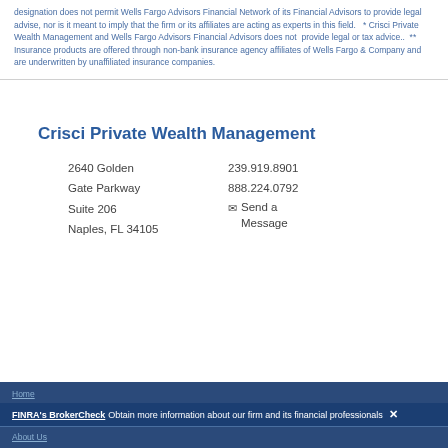designation does not permit Wells Fargo Advisors Financial Network of its Financial Advisors to provide legal advise, nor is it meant to imply that the firm or its affiliates are acting as experts in this field.   * Crisci Private Wealth Management and Wells Fargo Advisors Financial Advisors does not  provide legal or tax advice..  ** Insurance products are offered through non-bank insurance agency affiliates of Wells Fargo & Company and are underwritten by unaffiliated insurance companies.
Crisci Private Wealth Management
2640 Golden Gate Parkway Suite 206 Naples, FL 34105
239.919.8901 888.224.0792 Send a Message
Home  FINRA's BrokerCheck Obtain more information about our firm and its financial professionals  X  About Us